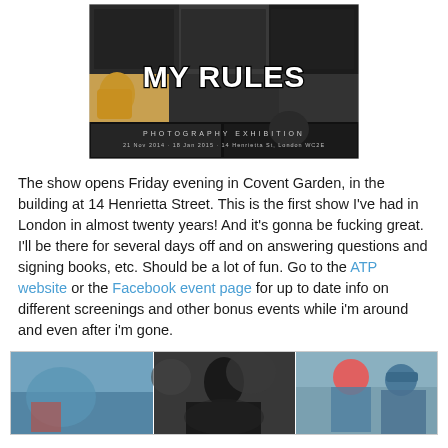[Figure (photo): MY RULES Photography Exhibition poster: collage of black and white concert/street photography photos with bold text 'MY RULES', subtitle 'PHOTOGRAPHY EXHIBITION', dates '21 Nov 2014 - 18 Jan 2015 · 14 Henrietta St, London WC2E']
The show opens Friday evening in Covent Garden, in the building at 14 Henrietta Street. This is the first show I've had in London in almost twenty years! And it's gonna be fucking great. I'll be there for several days off and on answering questions and signing books, etc. Should be a lot of fun. Go to the ATP website or the Facebook event page for up to date info on different screenings and other bonus events while i'm around and even after i'm gone.
[Figure (photo): Three concert/event photographs side by side showing people at outdoor events]